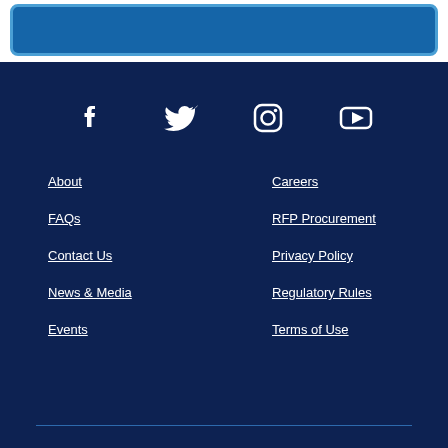[Figure (infographic): Social media icons row: Facebook, Twitter, Instagram, YouTube in white on dark navy background]
About
Careers
FAQs
RFP Procurement
Contact Us
Privacy Policy
News & Media
Regulatory Rules
Events
Terms of Use